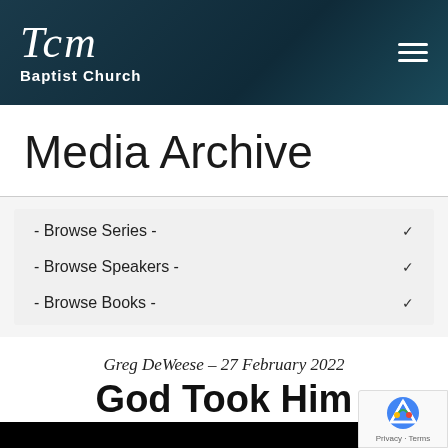[Figure (logo): TCM Baptist Church logo in white text on dark teal/navy gradient header background, with hamburger menu icon on the right]
Media Archive
- Browse Series -
- Browse Speakers -
- Browse Books -
Greg DeWeese - 27 February 2022
God Took Him